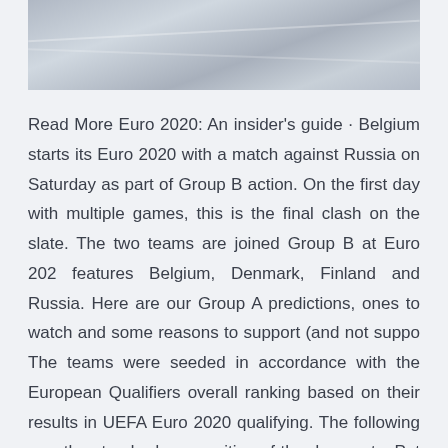[Figure (photo): Aerial or top-down view of snow-covered landscape with wind patterns and tracks visible]
Read More Euro 2020: An insider's guide · Belgium starts its Euro 2020 with a match against Russia on Saturday as part of Group B action. On the first day with multiple games, this is the final clash on the slate. The two teams are joined Group B at Euro 202 features Belgium, Denmark, Finland and Russia. Here are our Group A predictions, ones to watch and some reasons to support (and not suppo The teams were seeded in accordance with the European Qualifiers overall ranking based on their results in UEFA Euro 2020 qualifying. The following was the standard composition of the draw pots: Pot 1: Group winners ranked 1–6; Pot 2: Group winners ranked 7–10, group runners-up ranked 1–2 (11–